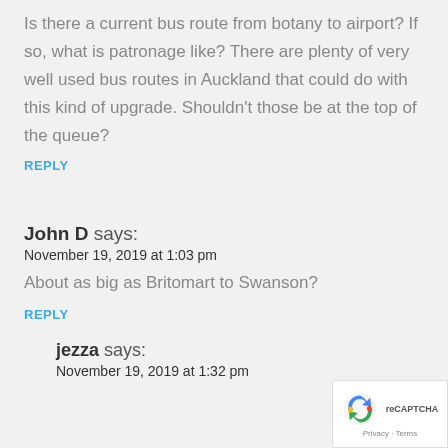Is there a current bus route from botany to airport? If so, what is patronage like? There are plenty of very well used bus routes in Auckland that could do with this kind of upgrade. Shouldn't those be at the top of the queue?
REPLY
John D says:
November 19, 2019 at 1:03 pm
About as big as Britomart to Swanson?
REPLY
jezza says:
November 19, 2019 at 1:32 pm